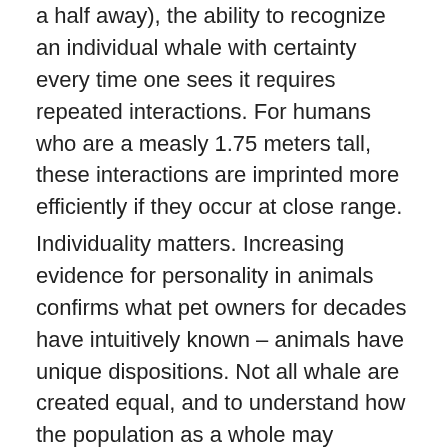a half away), the ability to recognize an individual whale with certainty every time one sees it requires repeated interactions. For humans who are a measly 1.75 meters tall, these interactions are imprinted more efficiently if they occur at close range.
Individuality matters. Increasing evidence for personality in animals confirms what pet owners for decades have intuitively known – animals have unique dispositions. Not all whale are created equal, and to understand how the population as a whole may respond to changes in the environment, necessitates sampling a wide swath of individuals. For example, if we follow Cervantes around from birth until death we may conclude that all humpback whale forage intertidally (likely not the case), that all whales annually